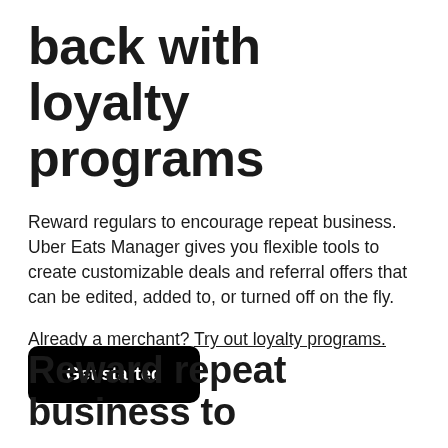back with loyalty programs
Reward regulars to encourage repeat business. Uber Eats Manager gives you flexible tools to create customizable deals and referral offers that can be edited, added to, or turned off on the fly.
Already a merchant? Try out loyalty programs.
Get started
Reward repeat business to